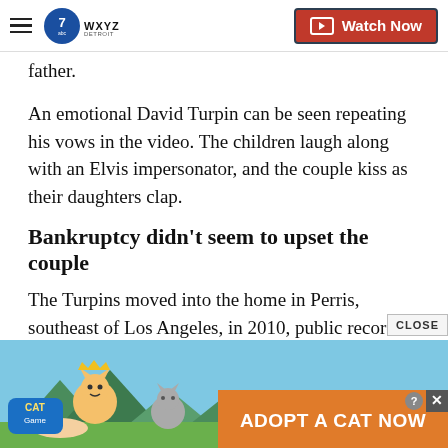WXYZ Detroit | Watch Now
father.
An emotional David Turpin can be seen repeating his vows in the video. The children laugh along with an Elvis impersonator, and the couple kiss as their daughters clap.
Bankruptcy didn't seem to upset the couple
The Turpins moved into the home in Perris, southeast of Los Angeles, in 2010, public records show.
[Figure (screenshot): Advertisement banner at the bottom of the page for 'Cat Game' showing cartoon cats and an 'ADOPT A CAT NOW' call to action on an orange banner. A CLOSE button and X icon are visible.]